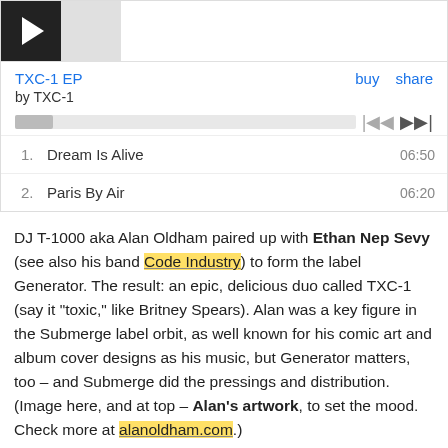[Figure (screenshot): Music player widget showing TXC-1 EP by TXC-1 with play button, progress bar, and track listing: 1. Dream Is Alive 06:50, 2. Paris By Air 06:20]
DJ T-1000 aka Alan Oldham paired up with Ethan Nep Sevy (see also his band Code Industry) to form the label Generator. The result: an epic, delicious duo called TXC-1 (say it "toxic," like Britney Spears). Alan was a key figure in the Submerge label orbit, as well known for his comic art and album cover designs as his music, but Generator matters, too – and Submerge did the pressings and distribution. (Image here, and at top – Alan's artwork, to set the mood. Check more at alanoldham.com.)